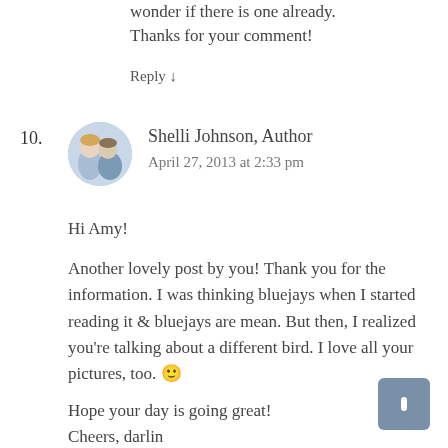wonder if there is one already. Thanks for your comment!
Reply ↓
10.
[Figure (photo): Circular avatar photo of Shelli Johnson, showing two people]
Shelli Johnson, Author
April 27, 2013 at 2:33 pm
Hi Amy!
Another lovely post by you! Thank you for the information. I was thinking bluejays when I started reading it & bluejays are mean. But then, I realized you're talking about a different bird. I love all your pictures, too. 🙂
Hope your day is going great!
Cheers, darlin